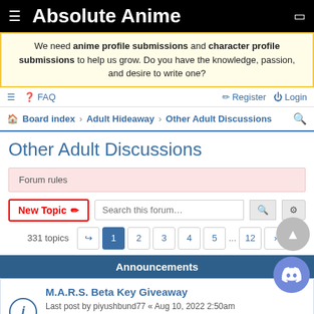Absolute Anime
We need anime profile submissions and character profile submissions to help us grow. Do you have the knowledge, passion, and desire to write one?
FAQ  Register  Login
Board index › Adult Hideaway › Other Adult Discussions
Other Adult Discussions
Forum rules
New Topic  Search this forum...  331 topics  1 2 3 4 5 ... 12
Announcements
M.A.R.S. Beta Key Giveaway
Last post by piyushbund77 « Aug 10, 2022 2:50am
Posted in Anime News & Press Releases
Replies: 3
Blast from the past: pre-crash forums restored... mostly